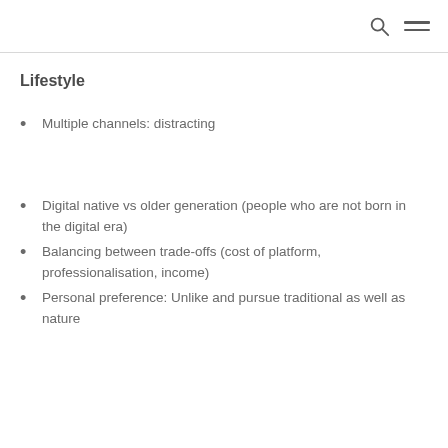[search icon] [menu icon]
Lifestyle
Multiple channels: distracting
Digital native vs older generation (people who are not born in the digital era)
Balancing between trade-offs (cost of platform, professionalisation, income)
Personal preference: Unlike and pursue traditional as well as nature